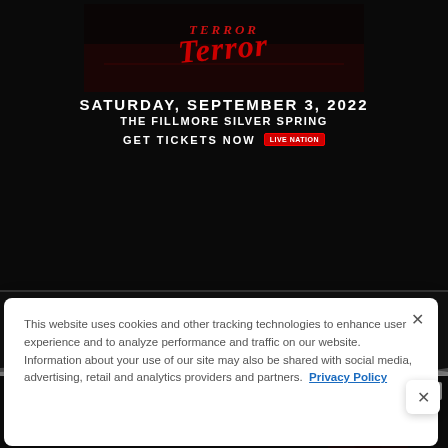[Figure (screenshot): Dark concert event banner for Terror band showing SATURDAY, SEPTEMBER 3, 2022 at THE FILLMORE SILVER SPRING with GET TICKETS NOW and Live Nation badge]
[Figure (logo): Blabbermouth.net website logo in white bold text on dark background with hamburger menu button]
This website uses cookies and other tracking technologies to enhance user experience and to analyze performance and traffic on our website. Information about your use of our site may also be shared with social media, advertising, retail and analytics providers and partners. Privacy Policy
[Figure (screenshot): Advertisement banner for Carpenter Brut at The Fillmore Silver Spring on Sat. September 3]